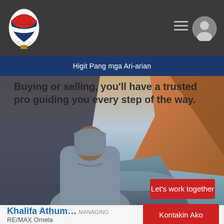[Figure (logo): RE/MAX hot air balloon logo in header]
Higit Pang mga Ari-arian
[Figure (photo): Hero image of a person looking at a mountain landscape with a RE/MAX balloon logo overlay and text 'Buying or selling, you'll have a trusted pro guiding you every step of the way.' and a red 'Let's work together' button]
Khalifa Athum... MANAGING
RE/MAX Omela
Kontakin Ako